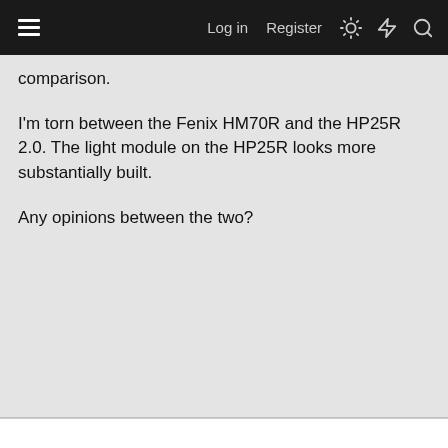Log in  Register
comparison.
I'm torn between the Fenix HM70R and the HP25R 2.0. The light module on the HP25R looks more substantially built.
Any opinions between the two?